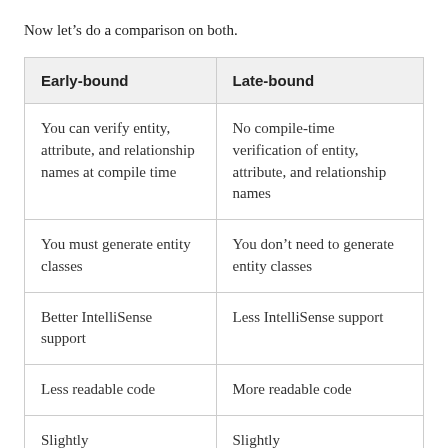Now let’s do a comparison on both.
| Early-bound | Late-bound |
| --- | --- |
| You can verify entity, attribute, and relationship names at compile time | No compile-time verification of entity, attribute, and relationship names |
| You must generate entity classes | You don’t need to generate entity classes |
| Better IntelliSense support | Less IntelliSense support |
| Less readable code | More readable code |
| Slightly… | Slightly… |